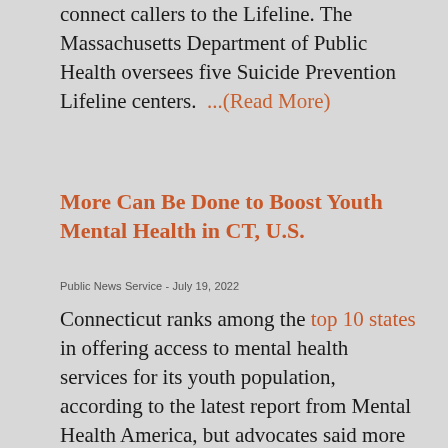connect callers to the Lifeline. The Massachusetts Department of Public Health oversees five Suicide Prevention Lifeline centers. ...(Read More)
More Can Be Done to Boost Youth Mental Health in CT, U.S.
Public News Service - July 19, 2022
Connecticut ranks among the top 10 states in offering access to mental health services for its youth population, according to the latest report from Mental Health America, but advocates said more could be done. The Children's Hospital